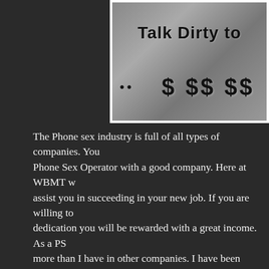[Figure (photo): Black and white photo with handwritten-style text reading 'Talk Dirty to' at top and '$$$$$' dollar signs in the middle, with knitted or fabric texture in background]
The Phone sex industry is full of all types of companies. You Phone Sex Operator with a good company. Here at WBMT w assist you in succeeding in your new job. If you are willing to dedication you will be rewarded with a great income. As a PS more than I have in other companies. I have been employed on board here. These past companies were terrible in compa for putting up with some of the horrible bosses I put up with. such a situation and looking for a better one. Well, here is a with a very nice motivational pay scale. I make great money, to achieve it but it's not that bad. Working from home and aw and weather foes is great. I love my job and the creativeness